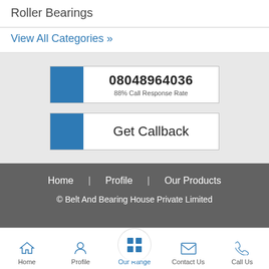Roller Bearings
View All Categories »
08048964036
88% Call Response Rate
Get Callback
Home | Profile | Our Products
© Belt And Bearing House Private Limited
Home | Profile | Our Range | Contact Us | Call Us